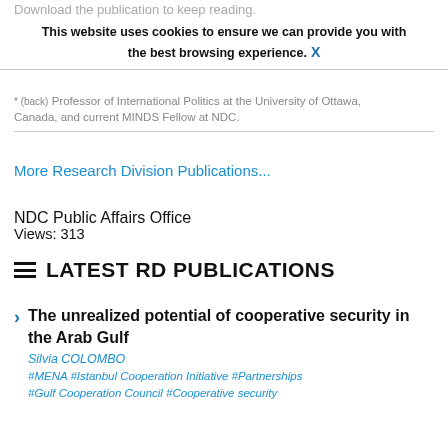Download the publication to keep reading.
This website uses cookies to ensure we can provide you with the best browsing experience. X
(back) Professor of International Politics at the University of Ottawa, Canada, and current MINDS Fellow at NDC.
More Research Division Publications...
NDC Public Affairs Office
Views: 313
LATEST RD PUBLICATIONS
The unrealized potential of cooperative security in the Arab Gulf
Silvia COLOMBO
#MENA #Istanbul Cooperation Initiative #Partnerships #Gulf Cooperation Council #Cooperative security